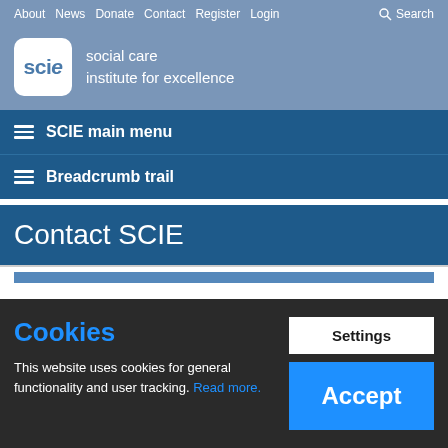About  News  Donate  Contact  Register  Login  Search
[Figure (logo): SCIE logo - white rounded square with 'scie' text in blue, alongside text 'social care institute for excellence']
SCIE main menu
Breadcrumb trail
Contact SCIE
Cookies
This website uses cookies for general functionality and user tracking. Read more.